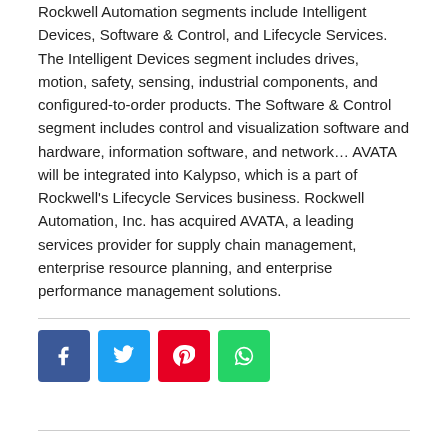Rockwell Automation segments include Intelligent Devices, Software & Control, and Lifecycle Services. The Intelligent Devices segment includes drives, motion, safety, sensing, industrial components, and configured-to-order products. The Software & Control segment includes control and visualization software and hardware, information software, and network… AVATA will be integrated into Kalypso, which is a part of Rockwell's Lifecycle Services business. Rockwell Automation, Inc. has acquired AVATA, a leading services provider for supply chain management, enterprise resource planning, and enterprise performance management solutions.
[Figure (infographic): Four social media sharing buttons: Facebook (blue), Twitter (cyan), Pinterest (red), WhatsApp (green)]